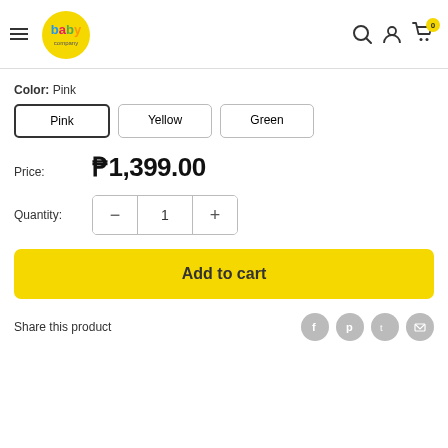[Figure (logo): Baby Company logo - colorful text on yellow oval background with hamburger menu icon]
Color:  Pink
Pink    Yellow    Green
Price:  ₱1,399.00
Quantity:  −  1  +
Add to cart
Share this product